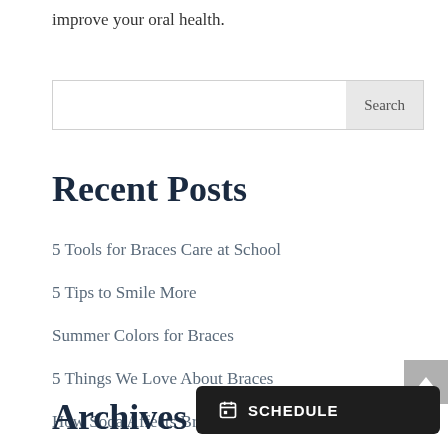improve your oral health.
[Figure (other): Search input box with Search button]
Recent Posts
5 Tools for Braces Care at School
5 Tips to Smile More
Summer Colors for Braces
5 Things We Love About Braces
How Soda Affects Braces
Archives